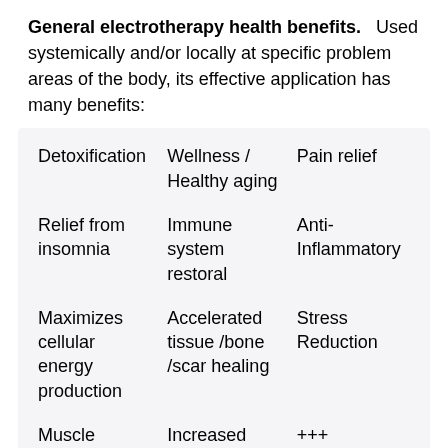General electrotherapy health benefits. Used systemically and/or locally at specific problem areas of the body, its effective application has many benefits:
| Detoxification | Wellness / Healthy aging | Pain relief |
| Relief from insomnia | Immune system restoral | Anti-Inflammatory |
| Maximizes cellular energy production | Accelerated tissue /bone /scar healing | Stress Reduction |
| Muscle relaxation / rehabilitation | Increased blood oxygen / circulation | +++ |
There are several reasonably affordable electrotherapy devices available for personal use